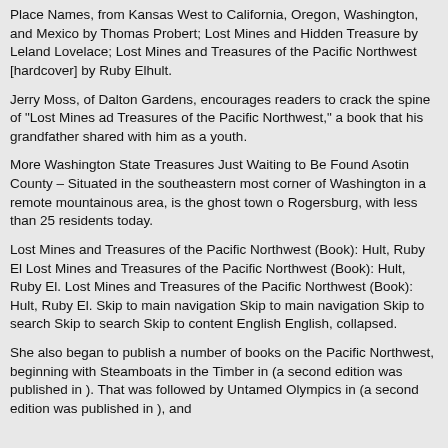Place Names, from Kansas West to California, Oregon, Washington, and Mexico by Thomas Probert; Lost Mines and Hidden Treasure by Leland Lovelace; Lost Mines and Treasures of the Pacific Northwest [hardcover] by Ruby Elhult.
Jerry Moss, of Dalton Gardens, encourages readers to crack the spine of "Lost Mines ad Treasures of the Pacific Northwest," a book that his grandfather shared with him as a youth.
More Washington State Treasures Just Waiting to Be Found Asotin County – Situated in the southeastern most corner of Washington in a remote mountainous area, is the ghost town of Rogersburg, with less than 25 residents today.
Lost Mines and Treasures of the Pacific Northwest (Book): Hult, Ruby El Lost Mines and Treasures of the Pacific Northwest (Book): Hult, Ruby El. Lost Mines and Treasures of the Pacific Northwest (Book): Hult, Ruby El. Skip to main navigation Skip to main navigation Skip to search Skip to search Skip to content English English, collapsed.
She also began to publish a number of books on the Pacific Northwest, beginning with Steamboats in the Timber in (a second edition was published in ). That was followed by Untamed Olympics in (a second edition was published in ), and